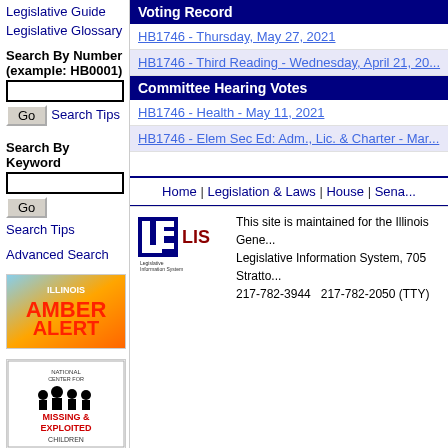Legislative Guide
Legislative Glossary
Search By Number (example: HB0001)
Go | Search Tips
Search By Keyword
Go
Search Tips
Advanced Search
[Figure (logo): Illinois Amber Alert logo]
[Figure (logo): National Center for Missing & Exploited Children logo]
Voting Record
HB1746 - Thursday, May 27, 2021
HB1746 - Third Reading - Wednesday, April 21, 20...
Committee Hearing Votes
HB1746 - Health - May 11, 2021
HB1746 - Elem Sec Ed: Adm., Lic. & Charter - Mar...
Home | Legislation & Laws | House | Sena...
This site is maintained for the Illinois General Assembly by the Legislative Information System, 705 Stratton..., 217-782-3944   217-782-2050 (TTY)
[Figure (logo): Legislative Information System logo]